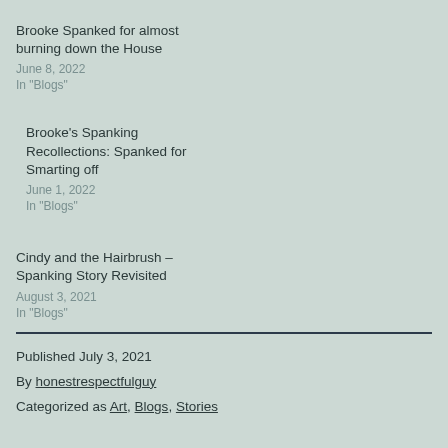Brooke Spanked for almost burning down the House
June 8, 2022
In "Blogs"
Brooke's Spanking Recollections: Spanked for Smarting off
June 1, 2022
In "Blogs"
Cindy and the Hairbrush – Spanking Story Revisited
August 3, 2021
In "Blogs"
Published July 3, 2021
By honestrespectfulguy
Categorized as Art, Blogs, Stories